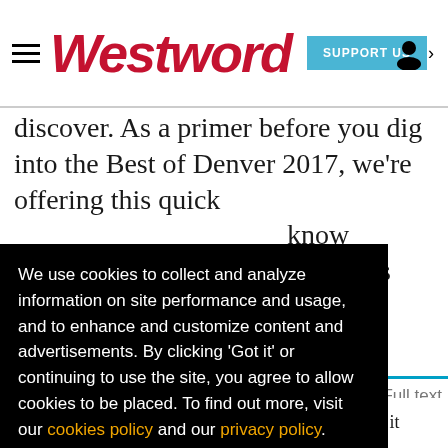Westword — SUPPORT US
discover. As a primer before you dig into the Best of Denver 2017, we're offering this quick … know … ar, its
We use cookies to collect and analyze information on site performance and usage, and to enhance and customize content and advertisements. By clicking 'Got it' or continuing to use the site, you agree to allow cookies to be placed. To find out more, visit our cookies policy and our privacy policy.
Got it!
independent voice of Denver, and we'd like to keep it